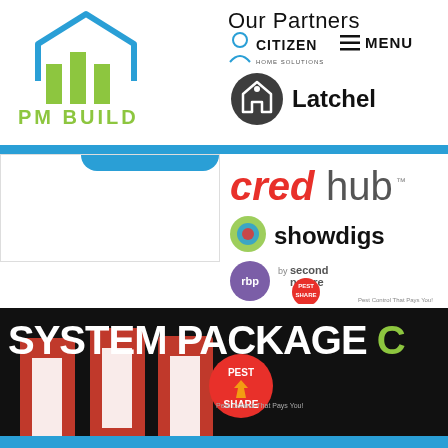[Figure (logo): PM Build logo - house icon in blue and green with text PM BUILD below in green]
Our Partners
≡ MENU
[Figure (logo): Citizen Home Solutions logo]
[Figure (logo): Latchel logo - home icon in dark circle with Latchel text]
[Figure (logo): CredHub logo - red italic cred and gray hub text]
[Figure (logo): Showdigs logo - colorful swirl icon with showdigs text]
[Figure (logo): RBP by Second Nature logo - purple circle with rbp and pest share badge]
[Figure (illustration): System Package C - dark banner with white bold text and green C, red binders visible at bottom, pest share badge overlay]